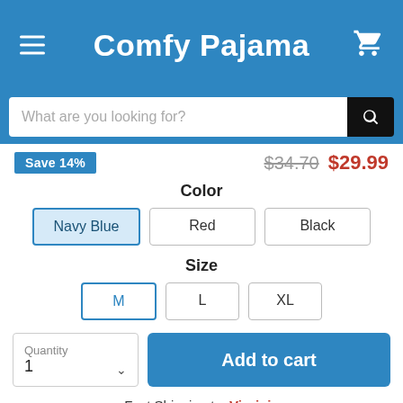Comfy Pajama
What are you looking for?
Save 14% $34.70 $29.99
Color
Navy Blue
Red
Black
Size
M
L
XL
Quantity 1
Add to cart
Fast Shipping to: Virginia
Delivery By: Sept 7 to Sept 12